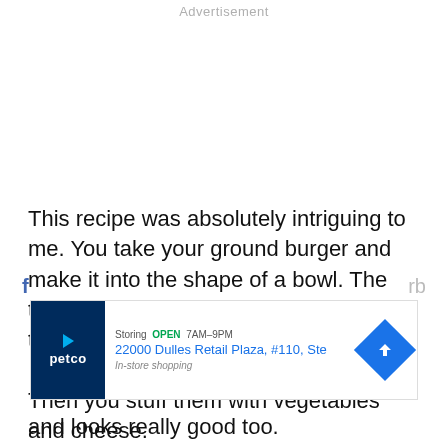Advertisement
This recipe was absolutely intriguing to me. You take your ground burger and make it into the shape of a bowl. The tutorial shows you an easy way to do this.
Then you stuff them with vegetables and cheese.
[Figure (other): Advertisement banner for Petco showing store location at 22000 Dulles Retail Plaza, #110, Ste with navigation icon, store open indicator, and in-store shopping note]
and looks really good too.